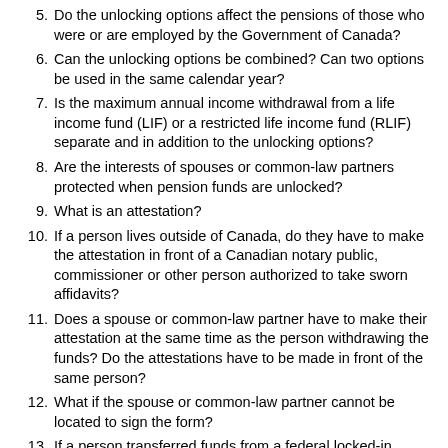5. Do the unlocking options affect the pensions of those who were or are employed by the Government of Canada?
6. Can the unlocking options be combined? Can two options be used in the same calendar year?
7. Is the maximum annual income withdrawal from a life income fund (LIF) or a restricted life income fund (RLIF) separate and in addition to the unlocking options?
8. Are the interests of spouses or common-law partners protected when pension funds are unlocked?
9. What is an attestation?
10. If a person lives outside of Canada, do they have to make the attestation in front of a Canadian notary public, commissioner or other person authorized to take sworn affidavits?
11. Does a spouse or common-law partner have to make their attestation at the same time as the person withdrawing the funds? Do the attestations have to be made in front of the same person?
12. What if the spouse or common-law partner cannot be located to sign the form?
13. If a person transferred funds from a federal locked-in registered retirement savings plan (RRSP) into a life income fund (LIF), can the funds be moved back into a locked-in registered retirement savings plan?
14. If a person wishes to unlock funds due to high medical or